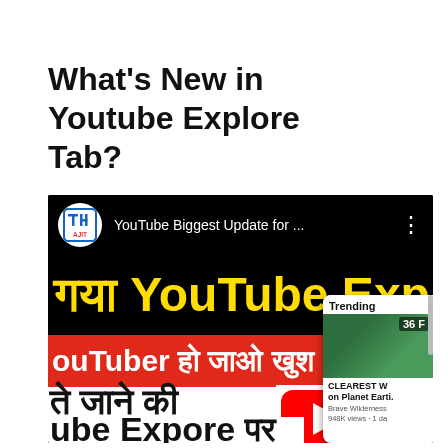What’s New in Youtube Explore Tab?
[Figure (screenshot): Screenshot of a YouTube video thumbnail showing 'YouTube Biggest Update for...' with Hindi text in yellow on black 'गया YouTube Explo', a red strip reading 'ouTuber हो जाओ खुश', white area with Hindi text 'ते जाने की' and 'ube Expore पर', a YouTube play button, and a phone mockup showing Trending section with '36 F' temperature, 'CLEAREST W on Planet Earti.' and 'Brave Wilderness 948K views 1 da']